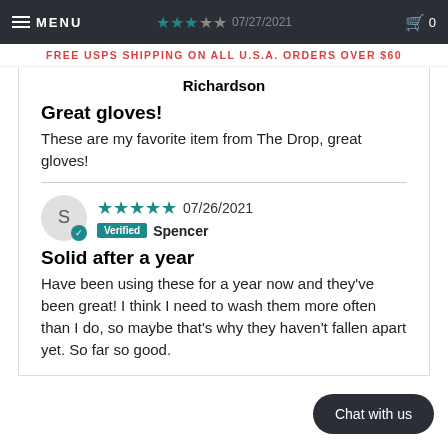MENU | ★★★★☆ 07/27/2021 | 🛒 0
FREE USPS SHIPPING ON ALL U.S.A. ORDERS OVER $60
Richardson
Great gloves!
These are my favorite item from The Drop, great gloves!
★★★★★ 07/26/2021 Verified Spencer
Solid after a year
Have been using these for a year now and they've been great! I think I need to wash them more often than I do, so maybe that's why they haven't fallen apart yet. So far so good.
Chat with us